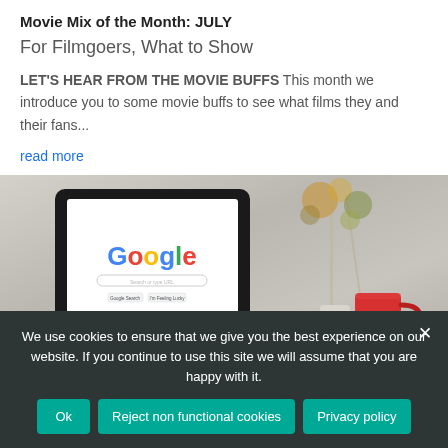Movie Mix of the Month: JULY
For Filmgoers, What to Show
LET'S HEAR FROM THE MOVIE BUFFS This month we introduce you to some movie buffs to see what films they and their fans...
read more
[Figure (photo): Photo of a tablet showing the Google homepage with a search bar, alongside a red mug and floral decoration in the background]
We use cookies to ensure that we give you the best experience on our website. If you continue to use this site we will assume that you are happy with it.
Ok
Reject non functional cookies
Privacy policy